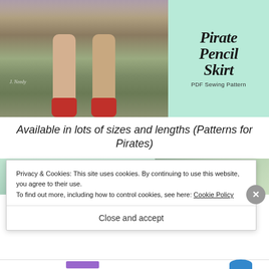[Figure (photo): Photo of woman's legs from behind wearing red high heels, standing on grass, with floral dress hem visible at top. Watermark reads 'J. Needy'.]
[Figure (illustration): Mint green background with decorative hand-lettered text reading 'Pirate Pencil Skirt PDF Sewing Pattern']
Available in lots of sizes and lengths (Patterns for Pirates)
[Figure (screenshot): Partial preview of lower page content, showing mint green and outdoor photo sections]
Privacy & Cookies: This site uses cookies. By continuing to use this website, you agree to their use.
To find out more, including how to control cookies, see here: Cookie Policy
Close and accept